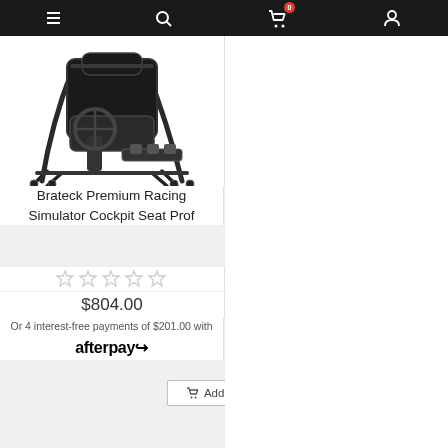Navigation bar with menu, search, cart (0), and account icons
[Figure (photo): Brateck Premium Racing Simulator Cockpit Seat Pro product photo showing a black metal frame racing simulator cockpit with seat and foot pedal area]
Brateck Premium Racing Simulator Cockpit Seat Prof
☆☆☆☆☆ (0 stars)
$804.00
Or 4 interest-free payments of $201.00 with afterpay
Add to Cart